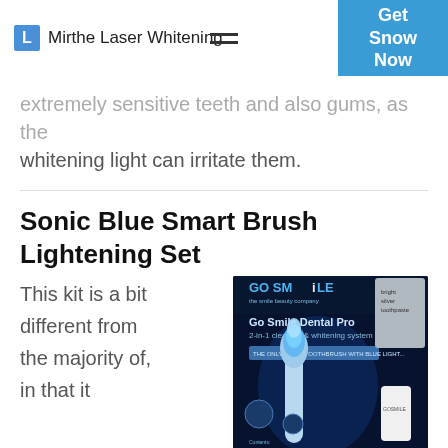Mirthe Laser Whitening
extremely sensitive teeth and also gums, as the whitening light can irritate them.
Sonic Blue Smart Brush Lightening Set
[Figure (photo): Go Smile Dental Pro 2-in-1 cleaning & whitening system product photo showing a sonic toothbrush with blue LED light and product packaging on a dark blue background]
This kit is a bit different from the majority of, in that it includes a special brush. This brush is boosted